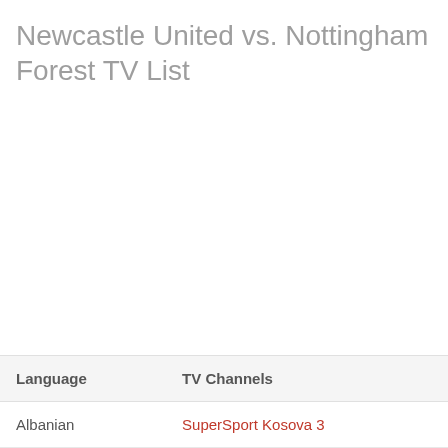Newcastle United vs. Nottingham Forest TV List
| Language | TV Channels |
| --- | --- |
| Albanian | SuperSport Kosova 3 |